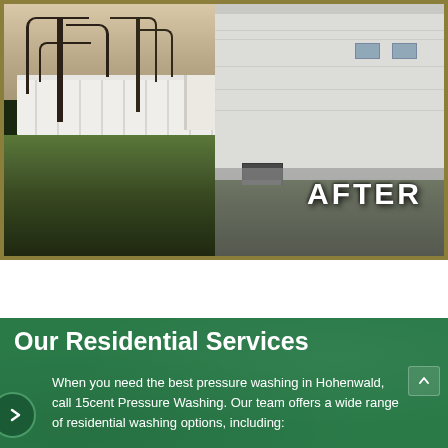[Figure (photo): After photo of a residential property showing a white house/building on the right side, a white vinyl privacy fence in the middle-left, green grass yard, bare trees, and an AC unit near the house. The word 'AFTER' is displayed in large bold white text in the lower right of the image. The image is framed with a gold/olive border.]
Our Residential Services
When you need the best pressure washing in Hohenwald, call 15cent Pressure Washing. Our team offers a wide range of residential washing options, including: